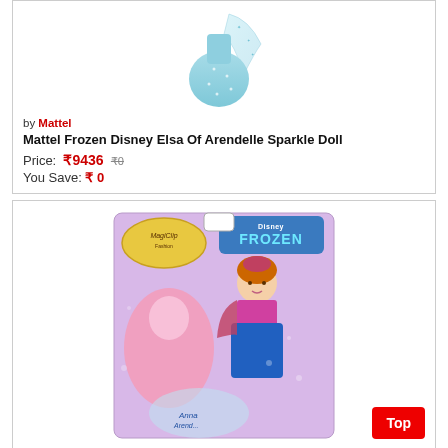[Figure (photo): Elsa dress/doll product photo - light blue sparkle gown with cape]
by Mattel
Mattel Frozen Disney Elsa Of Arendelle Sparkle Doll
Price: ₹9436 ₹0
You Save: ₹ 0
[Figure (photo): Disney Frozen MagiClip Anna doll in packaging with pink dress accessory and Frozen branding]
Top